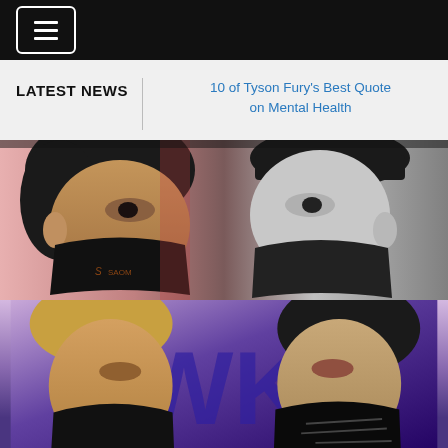Navigation bar with hamburger menu button
LATEST NEWS
10 of Tyson Fury's Best Quotes on Mental Health
[Figure (photo): Illustrated/stylized image of two boxers facing off, both wearing black face masks, close up face-to-face confrontation]
[Figure (photo): Illustrated/stylized image of two boxers facing off in front of purple/blue promotional graphics, both wearing black face masks]